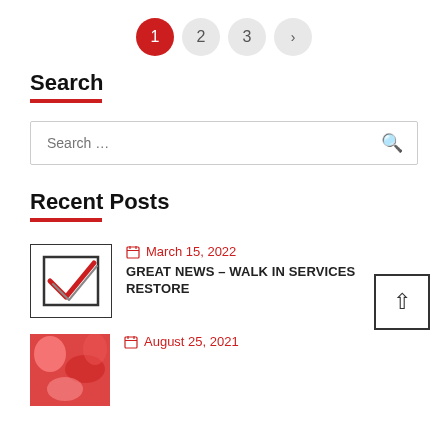[Figure (other): Pagination navigation with circles: active page 1 (red), pages 2, 3, and next arrow (grey)]
Search
[Figure (other): Search input box with placeholder text 'Search ...' and a search icon on the right]
Recent Posts
[Figure (other): Checkbox icon with red checkmark in a square]
March 15, 2022
GREAT NEWS – WALK IN SERVICES RESTORE
[Figure (other): Scroll to top button with upward arrow]
August 25, 2021